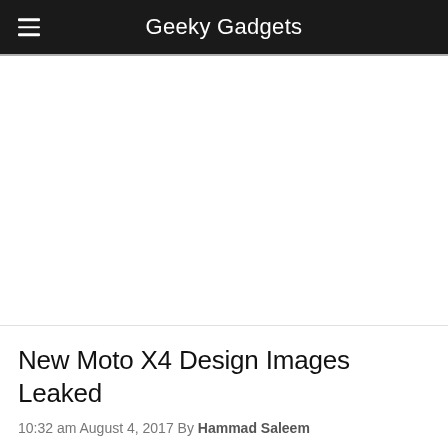Geeky Gadgets
[Figure (other): Large white/blank advertisement or image area below the navigation header]
New Moto X4 Design Images Leaked
10:32 am August 4, 2017 By Hammad Saleem